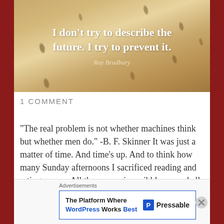[Figure (illustration): Sepia-toned background with scattered seeds. Two lines of bold white text: 'I don't try to describe the future. I try to prevent it.' and attribution 'Ray Bradbury' in lighter text below.]
1 COMMENT
"The real problem is not whether machines think but whether men do." -B. F. Skinner It was just a matter of time. And time’s up. And to think how many Sunday afternoons I sacrificed reading and rating essays. All those margin scribbles… and all those
Advertisements
The Platform Where WordPress Works Best  Pressable